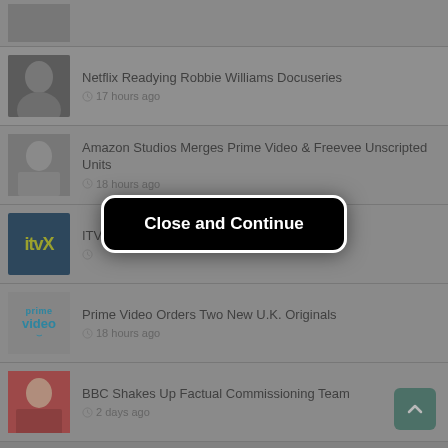[Figure (screenshot): News feed screenshot showing multiple entertainment news items with thumbnails, a 'Close and Continue' modal button overlay, and a scroll-to-top button]
Netflix Readying Robbie Williams Docuseries — 17 hours ago
Amazon Studios Merges Prime Video & Freevee Unscripted Units — 18 hours ago
ITV... sions for ITVX — (time partially obscured)
Prime Video Orders Two New U.K. Originals — 18 hours ago
BBC Shakes Up Factual Commissioning Team — 2 days ago